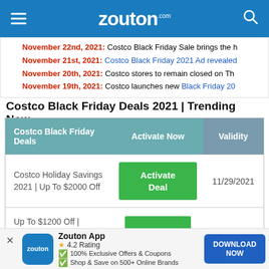zouton.com
November 22nd, 2021: Costco Black Friday Sale brings the h...
November 21st, 2021: Costco Black Friday 2021 Ad revealed...
November 20th, 2021: Costco stores to remain closed on Th...
November 19th, 2021: Costco launches new Black Friday 20...
Costco Black Friday Deals 2021 | Trending Now
| Costco Black Friday Deals | Activate Now | Validity |
| --- | --- | --- |
| Costco Holiday Savings 2021 | Up To $2000 Off | Activate Deal | 11/29/2021 |
| Up To $1200 Off | Costco... |  |  |
Zouton App 4.2 Rating • 100% Exclusive Offers & Coupons • Shop & Save on 500+ Online Brands